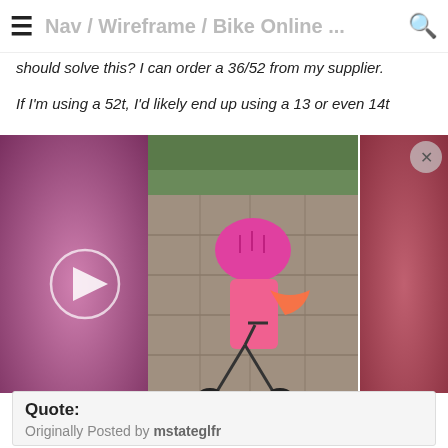Nav / Wireframe / Bike Online ...
should solve this? I can order a 36/52 from my supplier.
If I'm using a 52t, I'd likely end up using a 13 or even 14t
[Figure (photo): Video thumbnail of a young child wearing a pink helmet and pink outfit riding a small bicycle on a paved path. A play button overlay is visible on the left side of the video.]
riding and walking up all those hills .... 🚴
Quote:
Originally Posted by mstateglfr